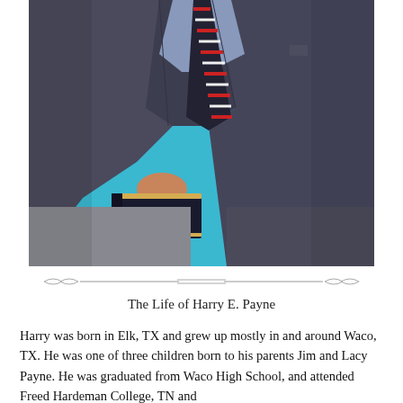[Figure (photo): Portrait photo of a man in a dark suit with a striped tie, holding a book (likely a Bible), against a blue background. His face/head is cropped out of the frame.]
The Life of Harry E. Payne
Harry was born in Elk, TX and grew up mostly in and around Waco, TX. He was one of three children born to his parents Jim and Lacy Payne. He was graduated from Waco High School, and attended Freed Hardeman College, TN and